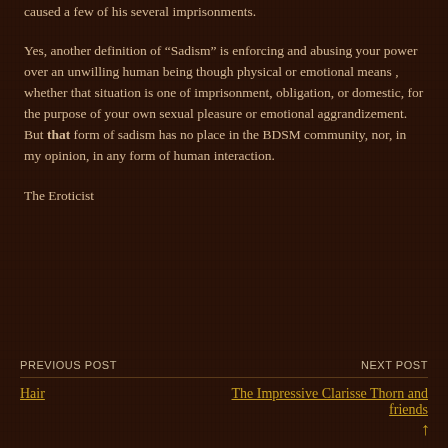caused a few of his several imprisonments.
Yes, another definition of “Sadism” is enforcing and abusing your power over an unwilling human being though physical or emotional means , whether that situation is one of imprisonment, obligation, or domestic, for the purpose of your own sexual pleasure or emotional aggrandizement. But that form of sadism has no place in the BDSM community, nor, in my opinion, in any form of human interaction.
The Eroticist
PREVIOUS POST | NEXT POST
Hair
The Impressive Clarisse Thorn and friends